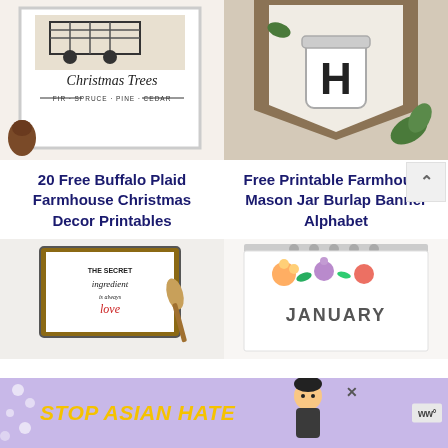[Figure (photo): Christmas Trees framed print with buffalo plaid truck and pine cones]
[Figure (photo): Farmhouse mason jar burlap banner with letter H on wood background]
20 Free Buffalo Plaid Farmhouse Christmas Decor Printables
Free Printable Farmhouse Mason Jar Burlap Banner Alphabet
[Figure (photo): The Secret Ingredient is Always Love framed sign with wooden spoon]
[Figure (photo): January floral calendar page]
[Figure (infographic): Stop Asian Hate advertisement banner with illustrated character and flower pattern]